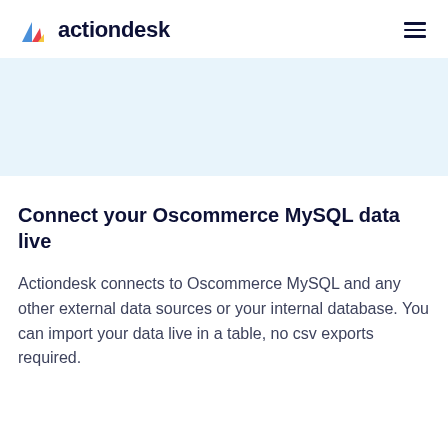actiondesk
[Figure (screenshot): Light blue/white hero image placeholder area]
Connect your Oscommerce MySQL data live
Actiondesk connects to Oscommerce MySQL and any other external data sources or your internal database. You can import your data live in a table, no csv exports required.